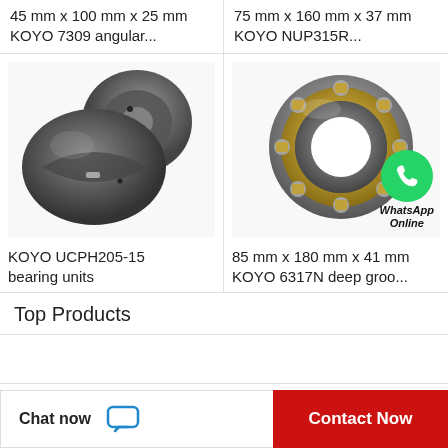45 mm x 100 mm x 25 mm KOYO 7309 angular...
75 mm x 160 mm x 37 mm KOYO NUP315R...
[Figure (photo): KOYO UCPH205-15 bearing units - spherical plain bearing, dark grey, two parts]
[Figure (photo): KOYO 6317N deep groove ball bearing, silver and gold colored, with WhatsApp Online overlay icon]
KOYO UCPH205-15 bearing units
85 mm x 180 mm x 41 mm KOYO 6317N deep groo...
Top Products
Chat now
Contact Now